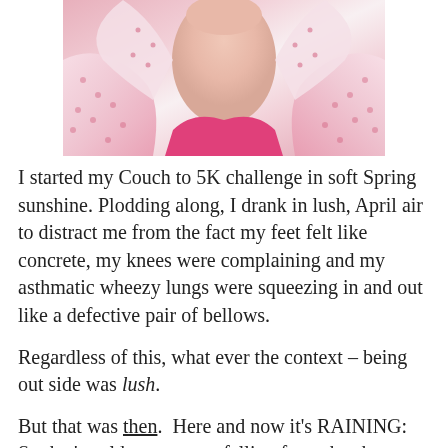[Figure (photo): Close-up photo of a person wearing a pink top and a white-and-pink patterned jacket with a hood, showing neck and lower face area.]
I started my Couch to 5K challenge in soft Spring sunshine. Plodding along, I drank in lush, April air to distract me from the fact my feet felt like concrete, my knees were complaining and my asthmatic wheezy lungs were squeezing in and out like a defective pair of bellows.
Regardless of this, what ever the context – being out side was lush.
But that was then.  Here and now it's RAINING: So that's cold, wet, water falling from the sky.